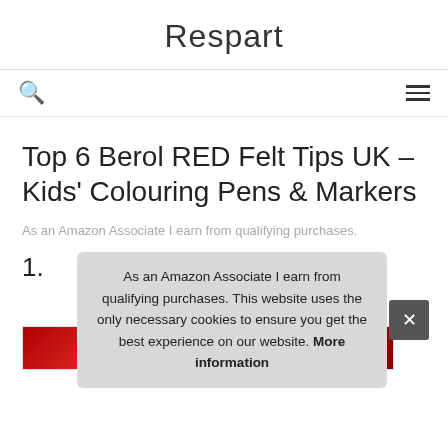Respart
Top 6 Berol RED Felt Tips UK – Kids' Colouring Pens & Markers
As an Amazon Associate I earn from qualifying purchases.
1.
As an Amazon Associate I earn from qualifying purchases. This website uses the only necessary cookies to ensure you get the best experience on our website. More information
[Figure (photo): Partial view of a red product (felt tip pens/markers) at the bottom of the page]